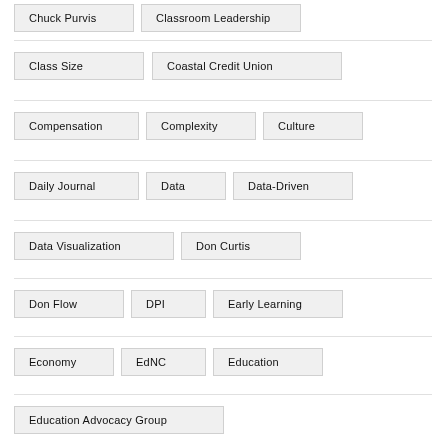Chuck Purvis
Classroom Leadership
Class Size
Coastal Credit Union
Compensation
Complexity
Culture
Daily Journal
Data
Data-Driven
Data Visualization
Don Curtis
Don Flow
DPI
Early Learning
Economy
EdNC
Education
Education Advocacy Group
Education History
Education Reform